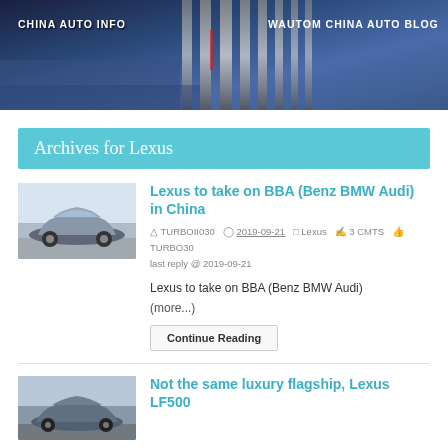[Figure (photo): Car close-up banner image with chrome grille detail, blue/purple tones. Text overlays: 'CHINA AUTO INFO' on left, 'WAUTOM CHINA AUTO BLOG' on right.]
CHINA AUTO INFO   WAUTOM CHINA AUTO BLOG
Archives for Lexus
[Figure (photo): Silver/grey Lexus sedan thumbnail image]
Lexus to take on BBA (Benz BMW Audi) in China
TURBOII030   2019-09-21   Lexus   3 CMTS   TURBO30 last reply @ 2019-09-21
Lexus to take on BBA (Benz BMW Audi)
(more...)
Continue Reading
[Figure (photo): Dark blue/grey Lexus sedan thumbnail image]
Not the same luxury flagship, Lexus LF500